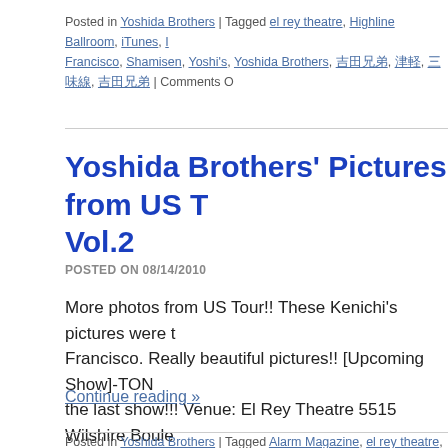Posted in Yoshida Brothers | Tagged el rey theatre, Highline Ballroom, iTunes, [...] Francisco, Shamisen, Yoshi's, Yoshida Brothers, 吉田兄弟, 津軽, 三味線, 吉田兄弟 | Comments Off
Yoshida Brothers' Pictures from US T... Vol.2
POSTED ON 08/14/2010
More photos from US Tour!! These Kenichi's pictures were t... Francisco. Really beautiful pictures!! [Upcoming Show]-TON... the last show!!! Venue: El Rey Theatre 5515 Wilshire Boule... 90036 Door Open: …
Continue reading »
Posted in Yoshida Brothers | Tagged Alarm Magazine, el rey theatre, Highline B...